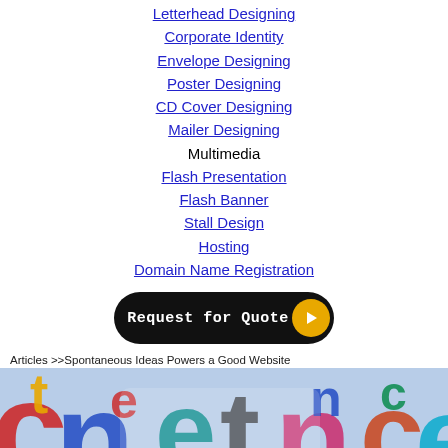Letterhead Designing
Corporate Identity
Envelope Designing
Poster Designing
CD Cover Designing
Mailer Designing
Multimedia
Flash Presentation
Flash Banner
Stall Design
Hosting
Domain Name Registration
[Figure (other): Request for Quote button with black rounded rectangle and yellow play arrow]
Articles >>Spontaneous Ideas Powers a Good Website
[Figure (photo): Close-up photo of colorful letters/typography on a keyboard or surface, showing letters in red, blue, yellow, teal colors]
Spontaneous Ideas Powers a Good Website